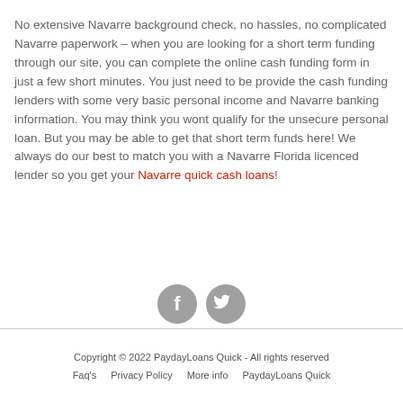No extensive Navarre background check, no hassles, no complicated Navarre paperwork – when you are looking for a short term funding through our site, you can complete the online cash funding form in just a few short minutes. You just need to be provide the cash funding lenders with some very basic personal income and Navarre banking information. You may think you wont qualify for the unsecure personal loan. But you may be able to get that short term funds here! We always do our best to match you with a Navarre Florida licenced lender so you get your Navarre quick cash loans!
[Figure (other): Two circular social media icons: Facebook (f) and Twitter (bird) in grey]
Copyright © 2022 PaydayLoans Quick - All rights reserved
Faq's   Privacy Policy   More info   PaydayLoans Quick